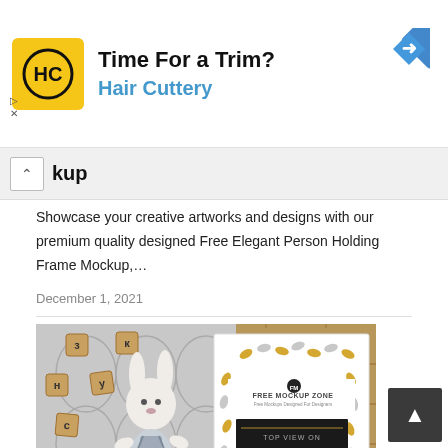[Figure (screenshot): Hair Cuttery advertisement banner with yellow logo showing HC initials, title 'Time For a Trim?', subtitle 'Hair Cuttery' in blue, and a blue navigation diamond icon.]
kup
Showcase your creative artworks and designs with our premium quality designed Free Elegant Person Holding Frame Mockup,…
December 1, 2021
[Figure (photo): Top view photo on a wooden floor showing a stuffed bunny toy in overalls next to scattered wooden letter blocks, alongside a white picture frame mockup with gold leaf pattern and text 'FREE MOCKUP ZONE / TOP VIEW ON WOODEN FLOOR FRAME MOCKUP' on black background.]